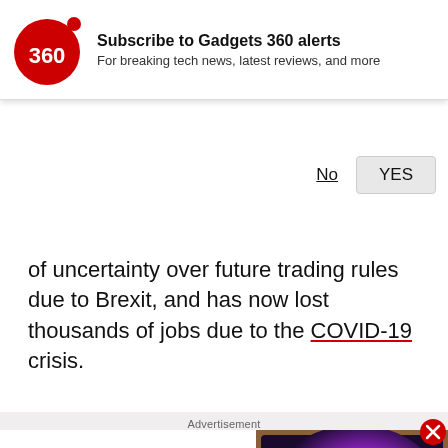[Figure (logo): Gadgets 360 logo — red circle with '360' text and red dot]
Subscribe to Gadgets 360 alerts
For breaking tech news, latest reviews, and more
No   YES
of uncertainty over future trading rules due to Brexit, and has now lost thousands of jobs due to the COVID-19 crisis.
Advertisement
[Figure (screenshot): Video thumbnail showing a TV with a galaxy/nebula on screen and a red play button overlay]